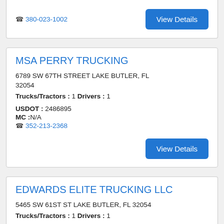380-023-1002
View Details
MSA PERRY TRUCKING
6789 SW 67TH STREET LAKE BUTLER, FL 32054
Trucks/Tractors : 1 Drivers : 1
USDOT : 2486895
MC :N/A
352-213-2368
View Details
EDWARDS ELITE TRUCKING LLC
5465 SW 61ST ST LAKE BUTLER, FL 32054
Trucks/Tractors : 1 Drivers : 1
USDOT : 1587355
MC : 587644
N/A
View Details